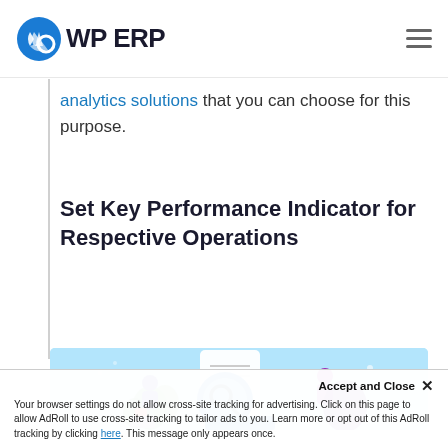WP ERP
analytics solutions that you can choose for this purpose.
Set Key Performance Indicator for Respective Operations
[Figure (illustration): Illustration of people working with a magnifying glass, document/checklist, and KPI analytics on a light blue background]
Your browser settings do not allow cross-site tracking for advertising. Click on this page to allow AdRoll to use cross-site tracking to tailor ads to you. Learn more or opt out of this AdRoll tracking by clicking here. This message only appears once.